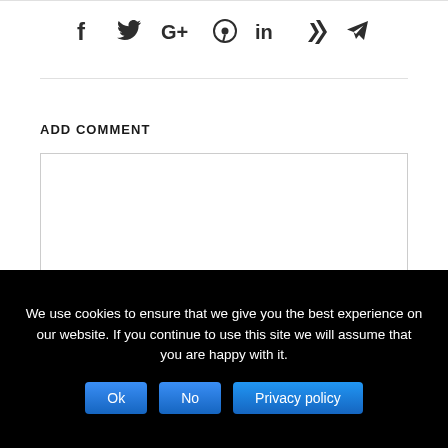[Figure (other): Social media sharing icons: Facebook (f), Twitter (bird), Google+ (G+), Pinterest (circle pin), LinkedIn (in), Xing (X), Telegram (paper plane)]
ADD COMMENT
[Figure (other): Empty comment text area input box]
We use cookies to ensure that we give you the best experience on our website. If you continue to use this site we will assume that you are happy with it.
Ok | No | Privacy policy